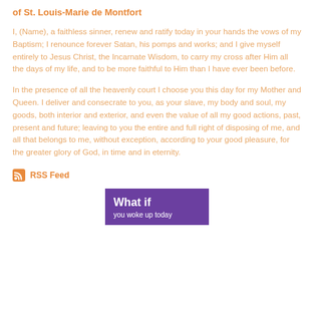of St. Louis-Marie de Montfort
I, (Name), a faithless sinner, renew and ratify today in your hands the vows of my Baptism; I renounce forever Satan, his pomps and works; and I give myself entirely to Jesus Christ, the Incarnate Wisdom, to carry my cross after Him all the days of my life, and to be more faithful to Him than I have ever been before.
In the presence of all the heavenly court I choose you this day for my Mother and Queen. I deliver and consecrate to you, as your slave, my body and soul, my goods, both interior and exterior, and even the value of all my good actions, past, present and future; leaving to you the entire and full right of disposing of me, and all that belongs to me, without exception, according to your good pleasure, for the greater glory of God, in time and in eternity.
RSS Feed
[Figure (other): Purple banner advertisement with white text reading 'What if you woke up today']